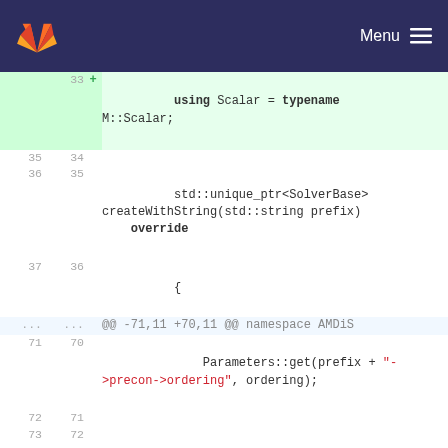GitLab navbar with logo and Menu button
[Figure (screenshot): Code diff view showing changes to C++ source file with line numbers, added/removed lines highlighted in green/red, showing using statements, std::unique_ptr, override, Parameters::get, and AMD ordering code]
33 + using Scalar = typename M::Scalar;
35 34 
36 35     std::unique_ptr<SolverBase> createWithString(std::string prefix) override
37 36     {
... ... @@ -71,11 +70,11 @@ namespace AMDiS
71 70         Parameters::get(prefix + "->precon->ordering", ordering);
72 71 
73 72         if (ordering == "amd") {
74    -         using AMD = Eigen::AMDOrdering<typename Mat::StorageIndex>;
   73 +         using AMD = Eigen::AMDOrdering<typename M::StorageIndex>;
75 74         return IncompleteCholesky<AMD>